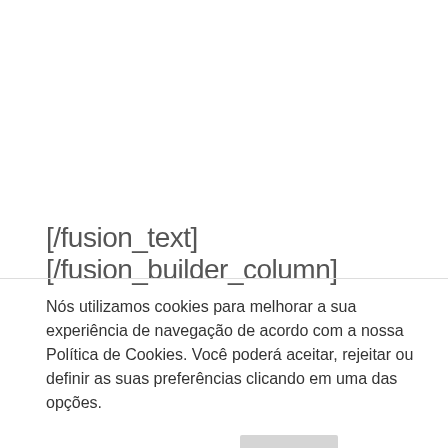[/fusion_text][/fusion_builder_column]
Nós utilizamos cookies para melhorar a sua experiência de navegação de acordo com a nossa Política de Cookies. Você poderá aceitar, rejeitar ou definir as suas preferências clicando em uma das opções.
Configurações de Cookie
Negar
ACEITAR E CONTINUAR NO SITE